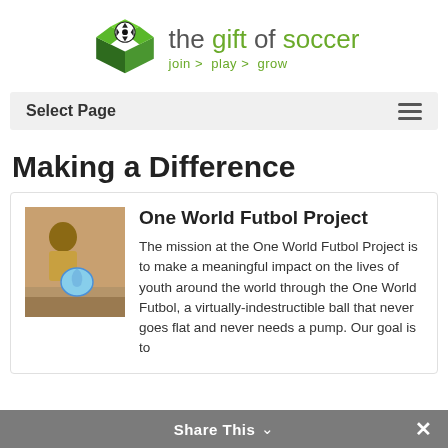[Figure (logo): The Gift of Soccer logo — green open box with soccer ball icon, text reads 'the gift of soccer' with tagline 'join > play > grow']
Select Page
Making a Difference
[Figure (photo): Children holding a blue soccer ball]
One World Futbol Project
The mission at the One World Futbol Project is to make a meaningful impact on the lives of youth around the world through the One World Futbol, a virtually-indestructible ball that never goes flat and never needs a pump. Our goal is to
Share This